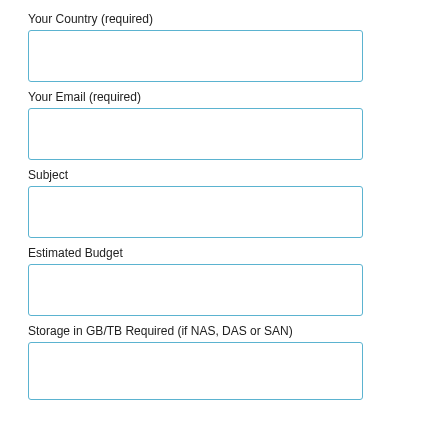Your Country (required)
[Figure (other): Empty text input field for Your Country]
Your Email (required)
[Figure (other): Empty text input field for Your Email]
Subject
[Figure (other): Empty text input field for Subject]
Estimated Budget
[Figure (other): Empty text input field for Estimated Budget]
Storage in GB/TB Required (if NAS, DAS or SAN)
[Figure (other): Empty text input field for Storage in GB/TB Required]